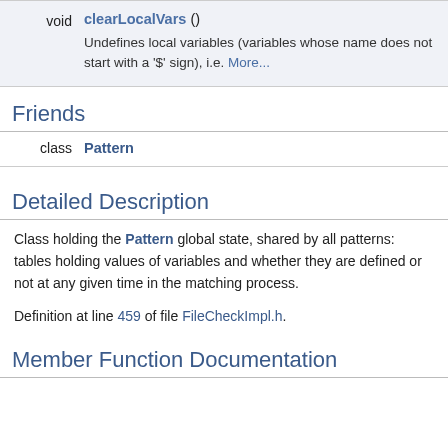| Return | Function | Description |
| --- | --- | --- |
| void | clearLocalVars () | Undefines local variables (variables whose name does not start with a '$' sign), i.e. More... |
Friends
| Type | Name |
| --- | --- |
| class | Pattern |
Detailed Description
Class holding the Pattern global state, shared by all patterns: tables holding values of variables and whether they are defined or not at any given time in the matching process.
Definition at line 459 of file FileCheckImpl.h.
Member Function Documentation